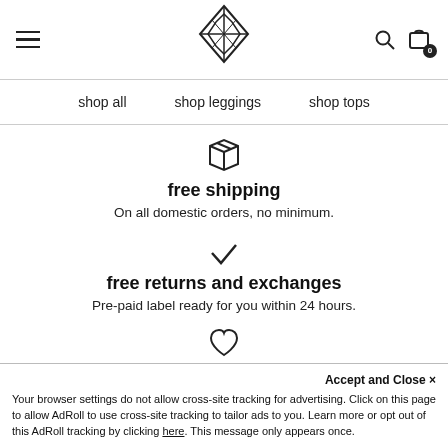Navigation header with hamburger menu, logo, search and cart icons
shop all   shop leggings   shop tops
[Figure (illustration): Box/package icon representing free shipping]
free shipping
On all domestic orders, no minimum.
[Figure (illustration): Checkmark icon representing free returns and exchanges]
free returns and exchanges
Pre-paid label ready for you within 24 hours.
[Figure (illustration): Heart icon representing full money back guarantee]
full money back guarantee
We'll send you a refund no questions asked.
Accept and Close ×
Your browser settings do not allow cross-site tracking for advertising. Click on this page to allow AdRoll to use cross-site tracking to tailor ads to you. Learn more or opt out of this AdRoll tracking by clicking here. This message only appears once.